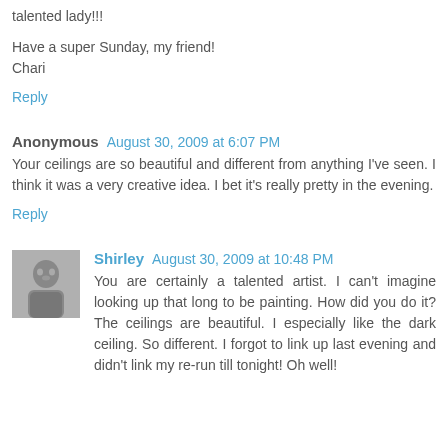talented lady!!!
Have a super Sunday, my friend!
Chari
Reply
Anonymous  August 30, 2009 at 6:07 PM
Your ceilings are so beautiful and different from anything I've seen. I think it was a very creative idea. I bet it's really pretty in the evening.
Reply
Shirley  August 30, 2009 at 10:48 PM
You are certainly a talented artist. I can't imagine looking up that long to be painting. How did you do it? The ceilings are beautiful. I especially like the dark ceiling. So different. I forgot to link up last evening and didn't link my re-run till tonight! Oh well!